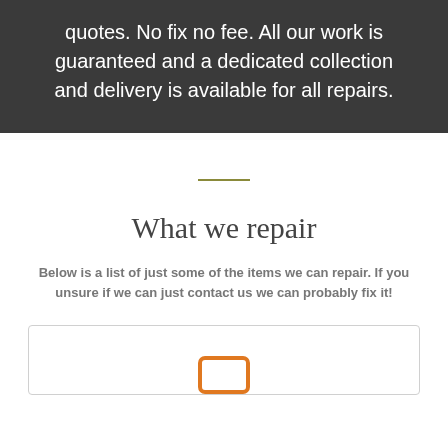quotes. No fix no fee. All our work is guaranteed and a dedicated collection and delivery is available for all repairs.
What we repair
Below is a list of just some of the items we can repair. If you unsure if we can just contact us we can probably fix it!
[Figure (illustration): Orange rounded rectangle / tablet icon inside a light-bordered box]